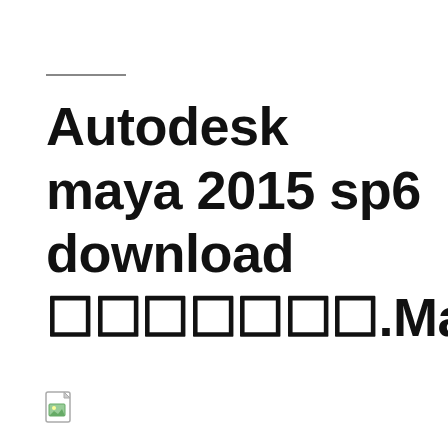Autodesk maya 2015 sp6 download 󿿿󿿿󿿿󿿿󿿿󿿿󿿿.Maya󿿿󿿿󿿿󿿿󿿿󿿿󿿿󿿿󿿿󿿿󿿿󿿿󿿿
[Figure (illustration): Small document/file icon at the bottom left of the page]